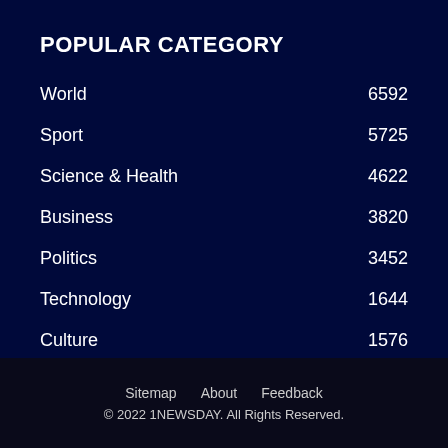POPULAR CATEGORY
World  6592
Sport  5725
Science & Health  4622
Business  3820
Politics  3452
Technology  1644
Culture  1576
Sitemap   About   Feedback
© 2022 1NEWSDAY. All Rights Reserved.